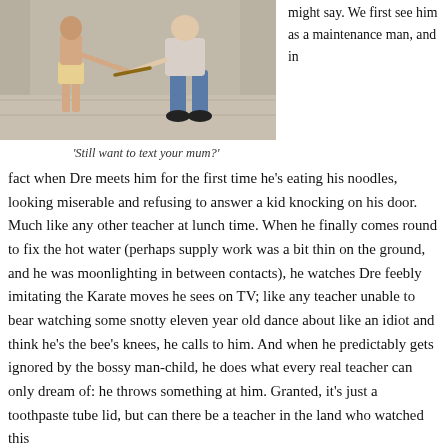[Figure (photo): A child and an adult crouching facing each other outdoors, appearing to hold a stick between them, on a stone or concrete surface.]
might say. We first see him as a maintenance man, and in
'Still want to text your mum?'
fact when Dre meets him for the first time he's eating his noodles, looking miserable and refusing to answer a kid knocking on his door. Much like any other teacher at lunch time. When he finally comes round to fix the hot water (perhaps supply work was a bit thin on the ground, and he was moonlighting in between contacts), he watches Dre feebly imitating the Karate moves he sees on TV; like any teacher unable to bear watching some snotty eleven year old dance about like an idiot and think he's the bee's knees, he calls to him. And when he predictably gets ignored by the bossy man-child, he does what every real teacher can only dream of: he throws something at him. Granted, it's just a toothpaste tube lid, but can there be a teacher in the land who watched this